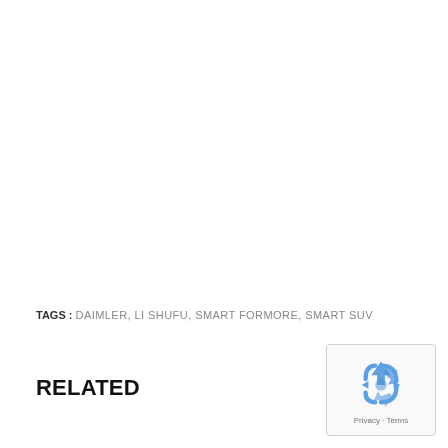TAGS : DAIMLER, LI SHUFU, SMART FORMORE, SMART SUV
RELATED
[Figure (other): reCAPTCHA badge with recycling-style arrow logo, Privacy and Terms links]